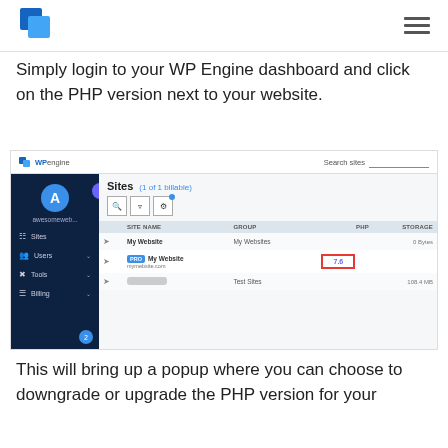WP Engine logo | hamburger menu
Simply login to your WP Engine dashboard and click on the PHP version next to your website.
[Figure (screenshot): WP Engine dashboard screenshot showing the Sites list with columns SITE NAME, GROUP, PHP, STORAGE. A row shows 'My Website' with a PRO badge and 'mymebsite.com', with the PHP version '7.6' highlighted inside a red border. Another row shows a gray-pill site name with group 'Test Sites' and 108.4 MB storage.]
This will bring up a popup where you can choose to downgrade or upgrade the PHP version for your